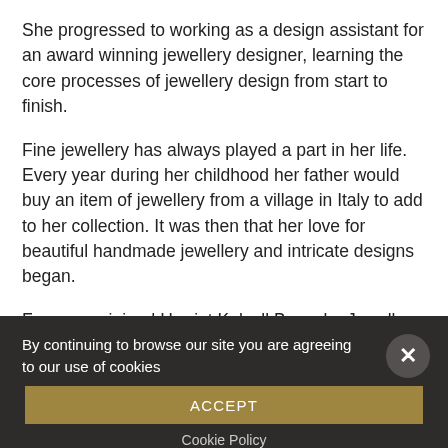She progressed to working as a design assistant for an award winning jewellery designer, learning the core processes of jewellery design from start to finish.
Fine jewellery has always played a part in her life. Every year during her childhood her father would buy an item of jewellery from a village in Italy to add to her collection. It was then that her love for beautiful handmade jewellery and intricate designs began.
Francesca joined Harriet Kelsall Bespoke Jewellery, quickly becoming a specialist in wedding and eternity rings. Now an accomplished Senior Designer specialising in vintage and floral design, she enjoys working closely with customers and
By continuing to browse our site you are agreeing to our use of cookies
ACCEPT
Cookie Policy